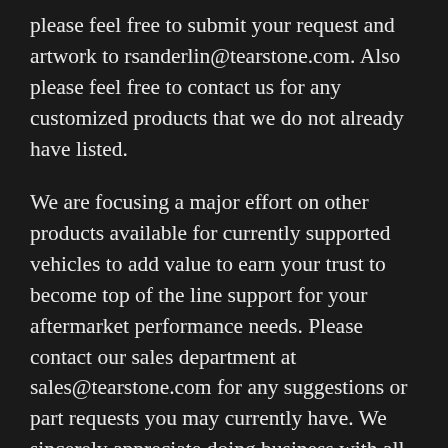please feel free to submit your request and artwork to rsanderlin@tearstone.com. Also please feel free to contact us for any customized products that we do not already have listed.
We are focusing a major effort on other products available for currently supported vehicles to add value to earn your trust to become top of the line support for your aftermarket performance needs. Please contact our sales department at sales@tearstone.com for any suggestions or part requests you may currently have. We sincerely appreciate doing business with all of our customers and thank you all for your continued support.